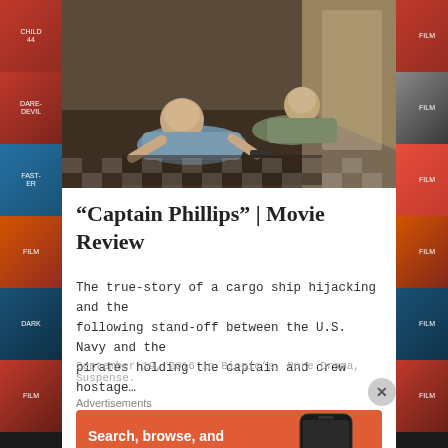[Figure (photo): Movie scene from Captain Phillips showing two men on a ship floor, one pointing a gun]
“Captain Phillips” | Movie Review
The true-story of a cargo ship hijacking and the following stand-off between the U.S. Navy and the pirates holding the captain and crew hostage…
September 19, 2016 in Biopic’s, Pure Drama, Suspense.
Advertisements
[Figure (screenshot): DuckDuckGo advertisement banner: Search, browse, and email with more privacy. All in One Free App. Shows DuckDuckGo logo on a phone mockup.]